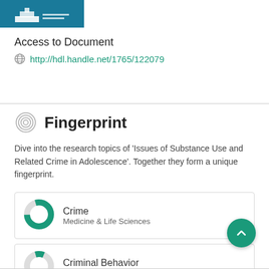[Figure (logo): Teal/blue institution logo image at top left]
Access to Document
http://hdl.handle.net/1765/122079
Fingerprint
Dive into the research topics of 'Issues of Substance Use and Related Crime in Adolescence'. Together they form a unique fingerprint.
Crime
Medicine & Life Sciences
Criminal Behavior
Medicine & Life Sciences